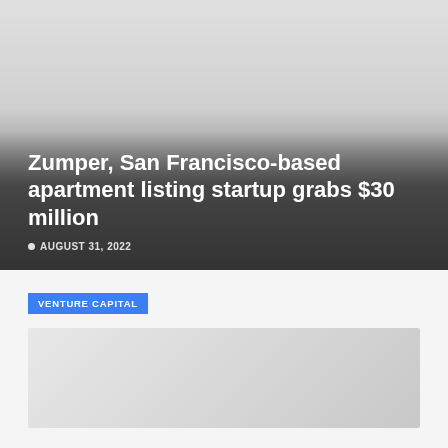[Figure (photo): Hero image with dark gradient overlay showing a cityscape or apartment-related background in grayscale]
Zumper, San Francisco-based apartment listing startup grabs $30 million
AUGUST 31, 2022
VENTURE CAPITAL
[Figure (photo): Thumbnail image placeholder in light gray]